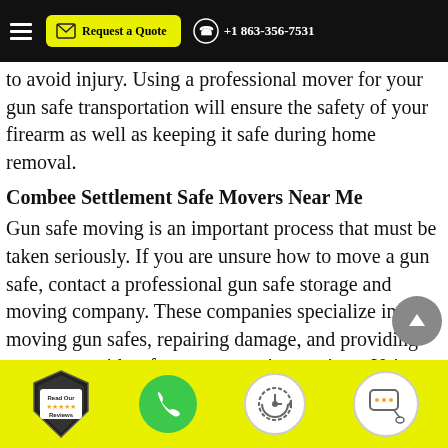Request a Quote | +1 863-356-7531
to avoid injury. Using a professional mover for your gun safe transportation will ensure the safety of your firearm as well as keeping it safe during home removal.
Combee Settlement Safe Movers Near Me
Gun safe moving is an important process that must be taken seriously. If you are unsure how to move a gun safe, contact a professional gun safe storage and moving company. These companies specialize in moving gun safes, repairing damage, and providing customers with safe gun storage instructions. Using the
Read Our Reviews | Phone | Clock | Chat